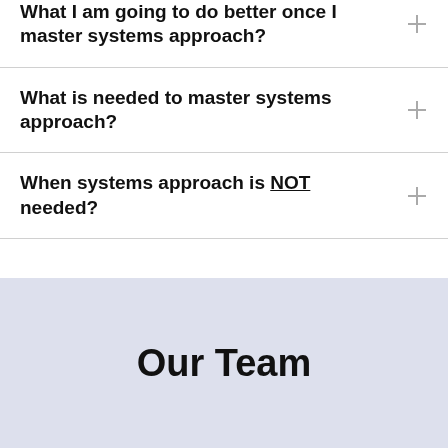What I am going to do better once I master systems approach?
What is needed to master systems approach?
When systems approach is NOT needed?
Our Team